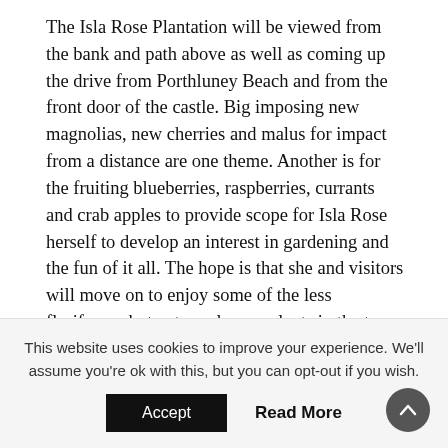The Isla Rose Plantation will be viewed from the bank and path above as well as coming up the drive from Porthluney Beach and from the front door of the castle. Big imposing new magnolias, new cherries and malus for impact from a distance are one theme. Another is for the fruiting blueberries, raspberries, currants and crab apples to provide scope for Isla Rose herself to develop an interest in gardening and the fun of it all. The hope is that she and visitors will move on to enjoy some of the less floriferous but extremely rare plants in the two acre clearing which is today being replanted.
The first load of plants from Burncoose arrives on site. A small pile as yet for a huge area.
This website uses cookies to improve your experience. We'll assume you're ok with this, but you can opt-out if you wish.
Accept   Read More